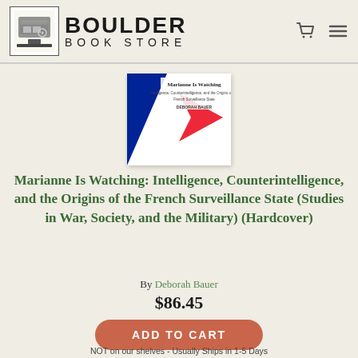BOULDER BOOK STORE
[Figure (photo): Book cover for 'Marianne Is Watching: Intelligence, Counterintelligence, and the Origins of the French Surveillance State' by Deborah Bauer. Cover shows French flag colors (blue, white, red) with a red chevron/arrow shape.]
Marianne Is Watching: Intelligence, Counterintelligence, and the Origins of the French Surveillance State (Studies in War, Society, and the Military) (Hardcover)
By Deborah Bauer
$86.45
ADD TO CART
NOT on our shelves - Usually Ships in 1-5 Days